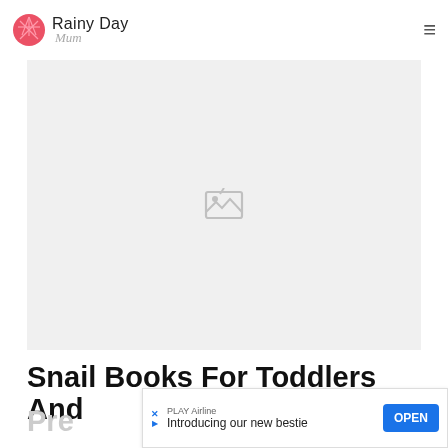Rainy Day Mum
[Figure (photo): Broken/missing image placeholder shown as a gray rectangle with a broken image icon in the center]
Snail Books For Toddlers And
Pre...
[Figure (screenshot): Advertisement banner: PLAY Airline - Introducing our new bestie - OPEN button]